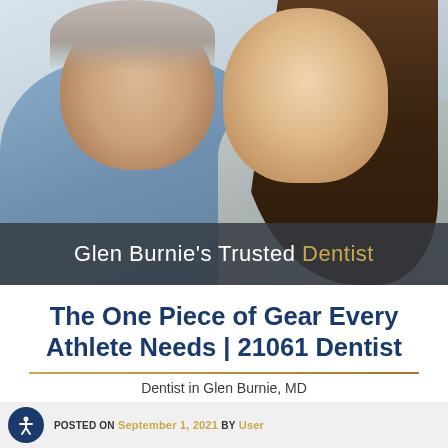[Figure (photo): Two smiling women hugging — an older woman and a younger woman, both showing happy smiles, photographed in a bright indoor setting.]
Glen Burnie's Trusted Dentist
The One Piece of Gear Every Athlete Needs | 21061 Dentist
Dentist in Glen Burnie, MD
POSTED ON SEPTEMBER 1, 2021 BY USER